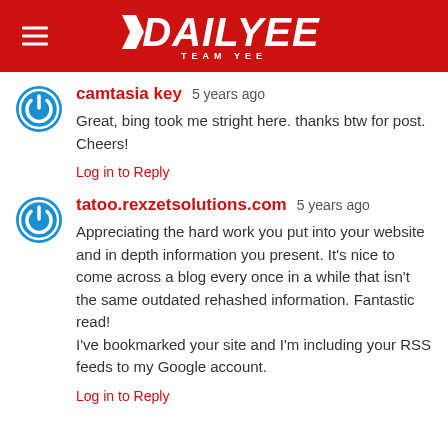DAILYEE TEAM YEE
camtasia key  5 years ago
Great, bing took me stright here. thanks btw for post. Cheers!
Log in to Reply
tatoo.rexzetsolutions.com  5 years ago
Appreciating the hard work you put into your website and in depth information you present. It's nice to come across a blog every once in a while that isn't the same outdated rehashed information. Fantastic read!
I've bookmarked your site and I'm including your RSS feeds to my Google account.
Log in to Reply